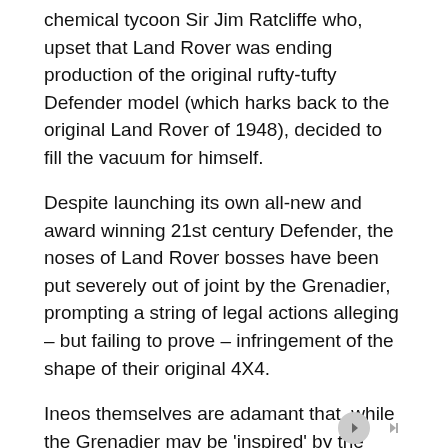chemical tycoon Sir Jim Ratcliffe who, upset that Land Rover was ending production of the original rufty-tufty Defender model (which harks back to the original Land Rover of 1948), decided to fill the vacuum for himself.
Despite launching its own all-new and award winning 21st century Defender, the noses of Land Rover bosses have been put severely out of joint by the Grenadier, prompting a string of legal actions alleging – but failing to prove – infringement of the shape of their original 4X4.
Ineos themselves are adamant that, while the Grenadier may be 'inspired' by the Defender and even prove to be its spiritual successor, it's also equally inspired by the classic all-American Jeep and the hulking Mercedes-Benz G-Class, often known as the G-Wagon.